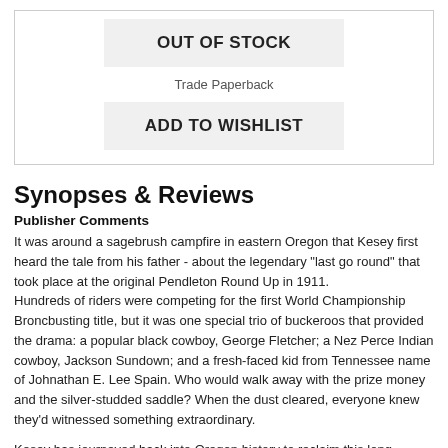OUT OF STOCK
Trade Paperback
ADD TO WISHLIST
Synopses & Reviews
Publisher Comments
It was around a sagebrush campfire in eastern Oregon that Kesey first heard the tale from his father - about the legendary "last go round" that took place at the original Pendleton Round Up in 1911.
Hundreds of riders were competing for the first World Championship Broncbusting title, but it was one special trio of buckeroos that provided the drama: a popular black cowboy, George Fletcher; a Nez Perce Indian cowboy, Jackson Sundown; and a fresh-faced kid from Tennessee name of Johnathan E. Lee Spain. Who would walk away with the prize money and the silver-studded saddle? When the dust cleared, everyone knew they'd witnessed something extraordinary.
Kesey has journeyed back into Oregon history to reclaim this long-remembered